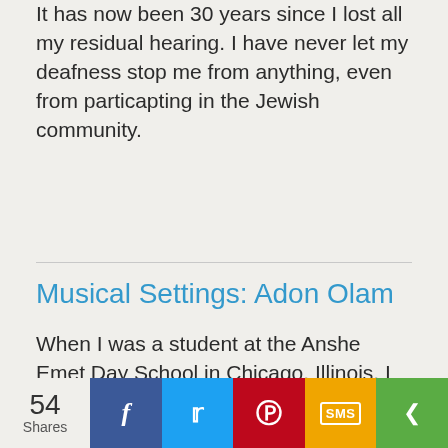It has now been 30 years since I lost all my residual hearing. I have never let my deafness stop me from anything, even from particapting in the Jewish community.
Musical Settings: Adon Olam
When I was a student at the Anshe Emet Day School in Chicago, Illinois, I had a Hebrew teacher who suggested that every night before we went to sleep, it would be meaningful to recite the last verse of Adon Olam.
54 Shares